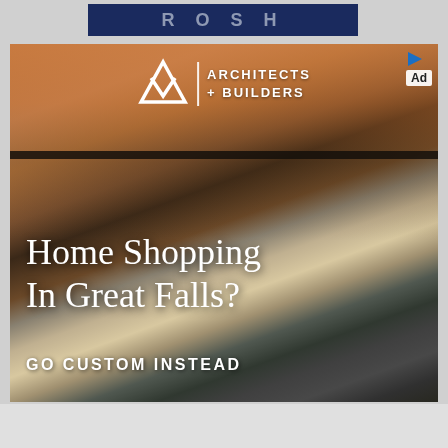[Figure (screenshot): Partial website header banner with dark navy blue background and faint white text letters visible]
[Figure (photo): Advertisement for Architects + Builders featuring a modern custom home at dusk with flat roof, wood and white stucco exterior, illuminated garage door, and driveway. Logo for AV Architects + Builders shown at top. Text overlay reads 'Home Shopping In Great Falls? GO CUSTOM INSTEAD']
Ad
Home Shopping In Great Falls?
GO CUSTOM INSTEAD